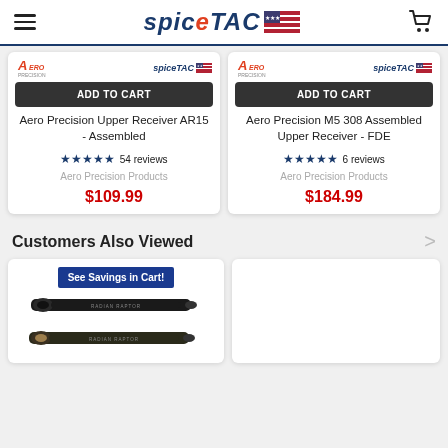SpiceTac (logo with US flag and cart icon)
[Figure (screenshot): Aero Precision logo and SpiceTac mini logo on product card 1]
ADD TO CART
Aero Precision Upper Receiver AR15 - Assembled
★★★★★ 54 reviews
Aero Precision Products
$109.99
[Figure (screenshot): Aero Precision logo and SpiceTac mini logo on product card 2]
ADD TO CART
Aero Precision M5 308 Assembled Upper Receiver - FDE
★★★★★ 6 reviews
Aero Precision Products
$184.99
Customers Also Viewed
See Savings in Cart!
[Figure (photo): Two black rifle charging handles (Radian Raptor) product image]